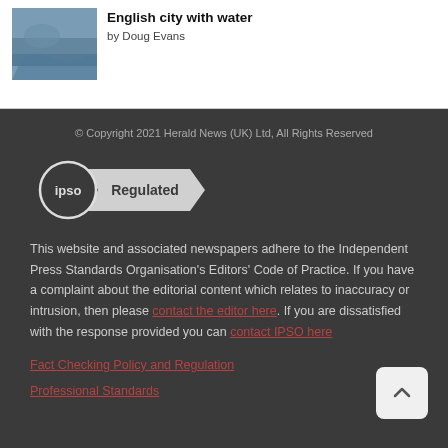[Figure (photo): Thumbnail photo of an English city with water]
English city with water
by Doug Evans
© Copyright 2021 Herald News (UK) Ltd, All Rights Reserved
[Figure (logo): IPSO Regulated logo badge]
This website and associated newspapers adhere to the Independent Press Standards Organisation's Editors' Code of Practice. If you have a complaint about the editorial content which relates to inaccuracy or intrusion, then please contact the editor here. If you are dissatisfied with the response provided you can contact IPSO here
Fact Checking Policy and Regulation
Professional Standards